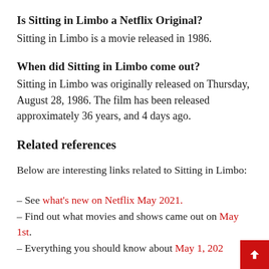Is Sitting in Limbo a Netflix Original?
Sitting in Limbo is a movie released in 1986.
When did Sitting in Limbo come out?
Sitting in Limbo was originally released on Thursday, August 28, 1986. The film has been released approximately 36 years, and 4 days ago.
Related references
Below are interesting links related to Sitting in Limbo:
– See what's new on Netflix May 2021.
– Find out what movies and shows came out on May 1st.
– Everything you should know about May 1, 202…